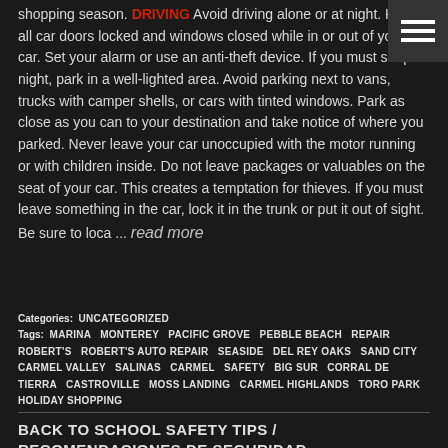shopping season. DRIVING Avoid driving alone or at night. Keep all car doors locked and windows closed while in or out of your car. Set your alarm or use an anti-theft device. If you must shop at night, park in a well-lighted area. Avoid parking next to vans, trucks with camper shells, or cars with tinted windows. Park as close as you can to your destination and take notice of where you parked. Never leave your car unoccupied with the motor running or with children inside. Do not leave packages or valuables on the seat of your car. This creates a temptation for thieves. If you must leave something in the car, lock it in the trunk or put it out of sight. Be sure to loca ... read more
Categories: UNCATEGORIZED
Tags: MARINA MONTEREY PACIFIC GROVE PEBBLE BEACH REPAIR ROBERT'S ROBERT'S AUTO REPAIR SEASIDE DEL REY OAKS SAND CITY CARMEL VALLEY SALINAS CARMEL SAFETY BIG SUR CORRAL DE TIERRA CASTROVILLE MOSS LANDING CARMEL HIGHLANDS TORO PARK HOLIDAY SHOPPING
BACK TO SCHOOL SAFETY TIPS / RECOMENDACIONES DE SEGURIDAD